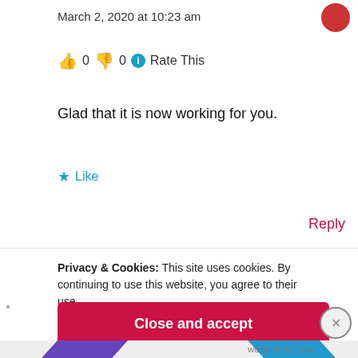March 2, 2020 at 10:23 am
👍 0 👎 0 ℹ Rate This
Glad that it is now working for you.
★ Like
Reply
Privacy & Cookies: This site uses cookies. By continuing to use this website, you agree to their use.
To find out more, including how to control cookies, see here:
Cookie Policy
Close and accept